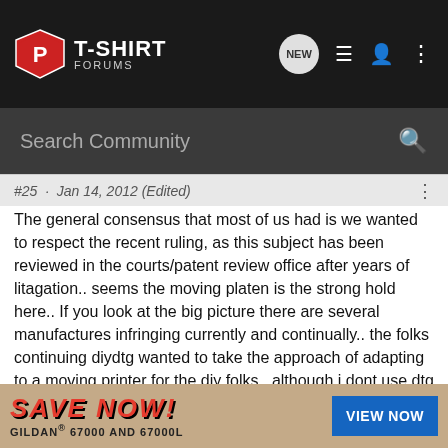T-SHIRT FORUMS
#25 · Jan 14, 2012 (Edited)
The general consensus that most of us had is we wanted to respect the recent ruling, as this subject has been reviewed in the courts/patent review office after years of litagation.. seems the moving platen is the strong hold here.. If you look at the big picture there are several manufactures infringing currently and continually.. the folks continuing diydtg wanted to take the approach of adapting to a moving printer for the diy folks.. although i dont use dtg as i have switched to screen printing i have made the moving printer both ricoh and epson and its very simple to achieve... lots of stuff going on behind the scenes with the moving printer project with those involved and what you will be seeing is a dtg similar in nature to the freejet 320 however with and move fo end of
[Figure (screenshot): Advertisement banner: SAVE NOW! GILDAN® 67000 AND 67000L with VIEW NOW button]